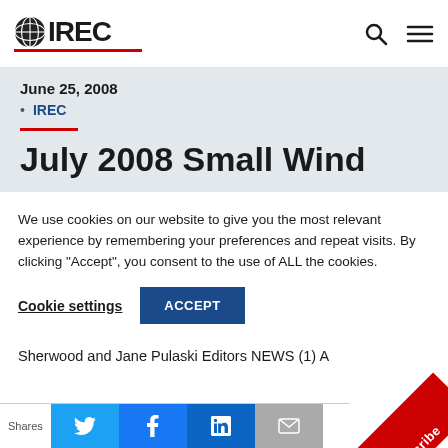IREC
June 25, 2008
IREC
July 2008 Small Wind
We use cookies on our website to give you the most relevant experience by remembering your preferences and repeat visits. By clicking “Accept”, you consent to the use of ALL the cookies.
Cookie settings   ACCEPT
Sherwood and Jane Pulaski Editors NEWS (1) A